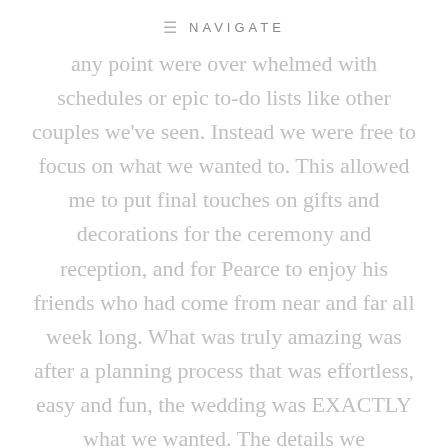≡ NAVIGATE
any point were over whelmed with schedules or epic to-do lists like other couples we've seen. Instead we were free to focus on what we wanted to. This allowed me to put final touches on gifts and decorations for the ceremony and reception, and for Pearce to enjoy his friends who had come from near and far all week long. What was truly amazing was after a planning process that was effortless, easy and fun, the wedding was EXACTLY what we wanted. The details we